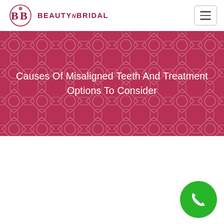BEAUTY n BRIDAL
Causes Of Misaligned Teeth And Treatment Options To Consider
[Figure (logo): Beauty n Bridal logo with decorative circular icon and text]
[Figure (other): Green circular phone/call button in bottom right corner]